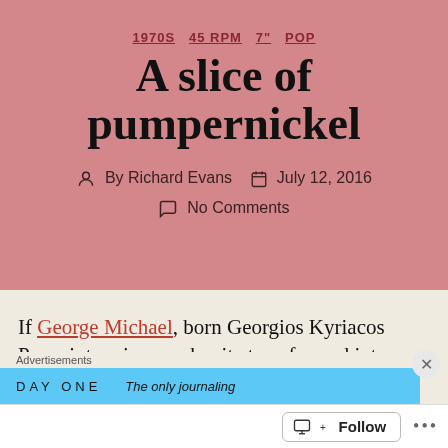1970S  45 RPM  7"  POP
A slice of pumpernickel
By Richard Evans  July 12, 2016  No Comments
If George Michael, born Georgios Kyriacos Panayiotou, is spanakopita transformed into white bread, what are we to make of the career of Arnold George Dorsey?
[Figure (screenshot): Advertisement banner: DAY ONE - The only journaling]
Follow  ...